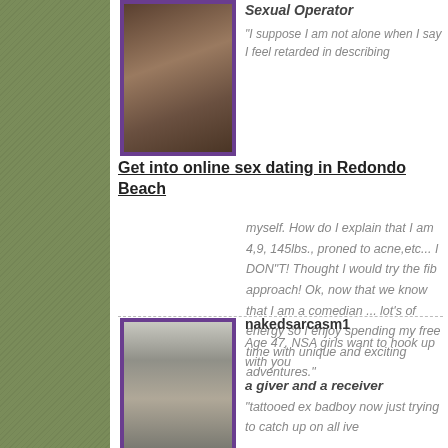[Figure (photo): Profile photo of a person with dark hair, framed with purple border, top card]
Sexual Operator
"I suppose I am not alone when I say I feel retarded in describing
Get into online sex dating in Redondo Beach
myself. How do I explain that I am 4,9, 145lbs., proned to acne,etc... I DON"T! Thought I would try the fib approach! Ok, now that we know that I am a comedian ... lot's of energy so I enjoy spending my free time with unique and exciting adventures."
[Figure (photo): Profile photo of a man in a white tank top, framed with purple border, bottom card]
nakedsarcasm1
Age 47, NSA girls want to hook up with you
a giver and a receiver
"tattooed ex badboy now just trying to catch up on all ive